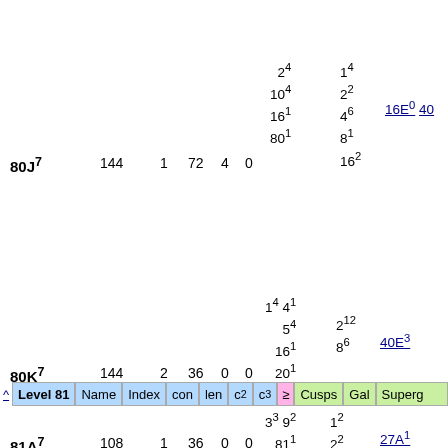| Name | Index | con | len | c2 | c3 | ≥ | Cusps | Gal | Superg |
| --- | --- | --- | --- | --- | --- | --- | --- | --- | --- |
| 80J^7 | 144 | 1 | 72 | 4 | 0 |  | 2^4, 10^4, 16^1, 80^1 | 1^4, 2^2, 4^6, 8^1, 16^2 | 16E^0 40 |
| 80K^7 | 144 | 2 | 36 | 0 | 0 |  | 1^4 4^1, 5^4, 16^1, 20^1, 80^1 | 2^12, 8^6 | 40E^3 |
^ Level 81 | Name | Index | con | len | c2 | c3 | ≥ | Cusps | Gal | Superg
| Name | Index | con | len | c2 | c3 | ≥ | Cusps | Gal | Superg |
| --- | --- | --- | --- | --- | --- | --- | --- | --- | --- |
| 81A^7 | 108 | 1 | 36 | 0 | 0 |  | 3^3 9^2, 81^1 | 1^2, 2^2, 6^2 | 27A^1 |